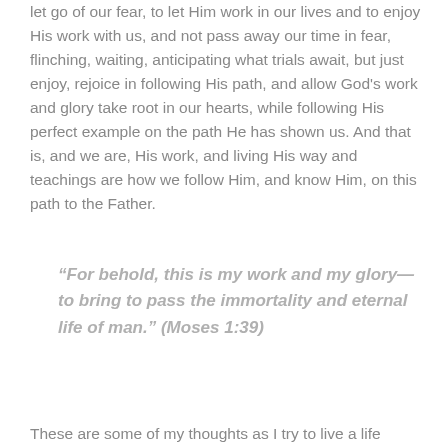let go of our fear, to let Him work in our lives and to enjoy His work with us, and not pass away our time in fear, flinching, waiting, anticipating what trials await, but just enjoy, rejoice in following His path, and allow God's work and glory take root in our hearts, while following His perfect example on the path He has shown us. And that is, and we are, His work, and living His way and teachings are how we follow Him, and know Him, on this path to the Father.
“For behold, this is my work and my glory—to bring to pass the immortality and eternal life of man.” (Moses 1:39)
These are some of my thoughts as I try to live a life